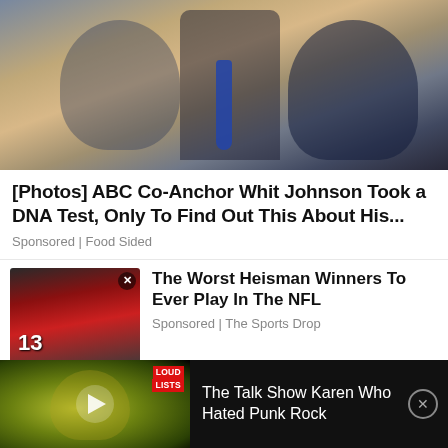[Figure (photo): Photo of ABC co-anchor Whit Johnson with two young girls, one on each side, in a studio setting]
[Photos] ABC Co-Anchor Whit Johnson Took a DNA Test, Only To Find Out This About His...
Sponsored | Food Sided
[Figure (photo): Thumbnail of football player wearing red jersey number 13 next to Heisman Trophy statue]
The Worst Heisman Winners To Ever Play In The NFL
Sponsored | The Sports Drop
[Figure (screenshot): Video thumbnail showing woman with green hair, Loud Lists branding, title: The Talk Show Karen Who Hated Punk Rock]